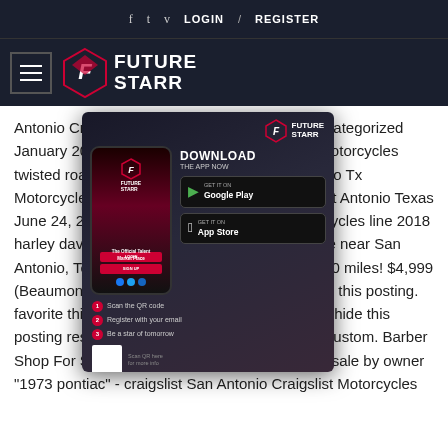f  t  v  LOGIN  /  REGISTER
[Figure (logo): Future Starr logo with hamburger menu icon on dark navy background]
Antonio Craigslist Motorcycles By San Antonio categorized January 20, 2021. two wheeled texans indian motorcycles twisted road wants to san antonio ca San Antonio Tx Motorcycles By Owner "1973 pontiac" - craigslist Antonio Texas June 24, 2017 by ircycles san antonio tx motorcycles line 2018 harley davidson flhxs street Motorcycles for Sale near San Antonio, Texas. 2014 Honda CTX 700- only 4600 miles! $4,999 (Beaumont ) pic hide this posting restore restore this posting. favorite this post Oct 12. $7,500 (Riverside ) pic hide this posting restore restore this posting. HD XL883 custom. Barber Shop For Sale/ Owner Finance. san antonio for sale by owner "1973 pontiac" - craigslist San Antonio Craigslist Motorcycles
[Figure (screenshot): Future Starr app download popup/advertisement showing a phone mockup, Google Play and App Store buttons, QR code, and steps to download the app]